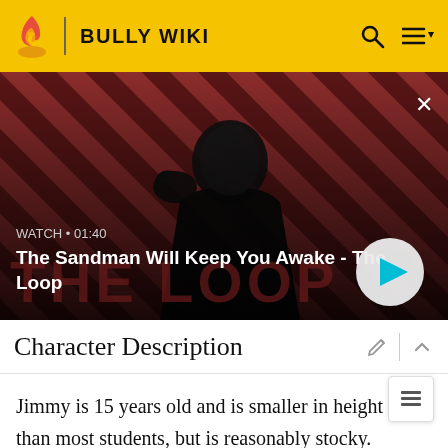BULLY WIKI
[Figure (screenshot): Video thumbnail showing a dark figure wearing a black cape with a raven on their shoulder, against a red and black diagonal stripe background. Overlay text: WATCH • 01:40 and title 'The Sandman Will Keep You Awake - The Loop'. Play button visible at bottom right.]
Character Description
Jimmy is 15 years old and is smaller in height than most students, but is reasonably stocky. He has freckles on his cheeks and wears a gold stud earring on his left ear. He